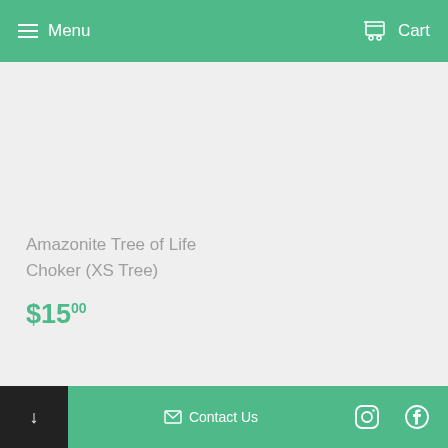Menu   Cart
[Figure (photo): Empty product image area with light gray background]
Amazonite Tree of Life Choker (XS Tree)
$15.00
↓   Contact Us   [Instagram]   [Facebook]